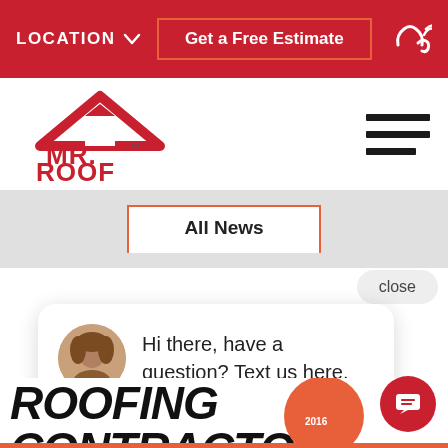LOCATION  Get a Free Estimate
[Figure (logo): Mr. Roof company logo with house icon]
All News
close
Hi there, have a question? Text us here.
ROOFING CONTRACTOR